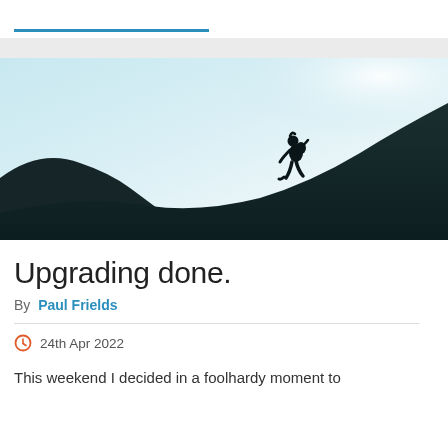[Figure (photo): A silhouette of a person hiking up a steep dark hillside against a light blue sky, photographed from below.]
Upgrading done.
By Paul Frields
24th Apr 2022
This weekend I decided in a foolhardy moment to